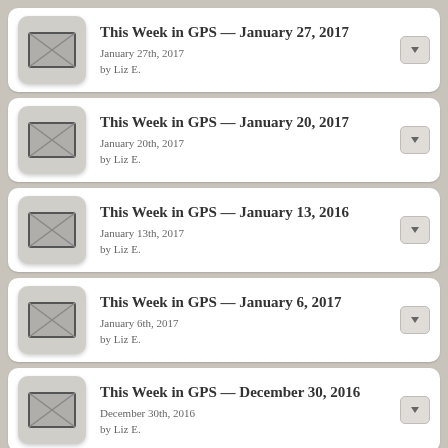This Week in GPS — January 27, 2017
January 27th, 2017
by Liz E.
This Week in GPS — January 20, 2017
January 20th, 2017
by Liz E.
This Week in GPS — January 13, 2016
January 13th, 2017
by Liz E.
This Week in GPS — January 6, 2017
January 6th, 2017
by Liz E.
This Week in GPS — December 30, 2016
December 30th, 2016
by Liz E.
This Week in GPS — December 23, 2016
December 23rd, 2016